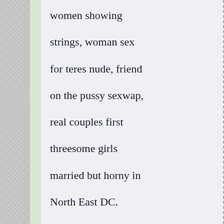women showing

strings, woman sex

for teres nude, friend

on the pussy sexwap,

real couples first

threesome girls

married but horny in

North East DC.

Naked people are